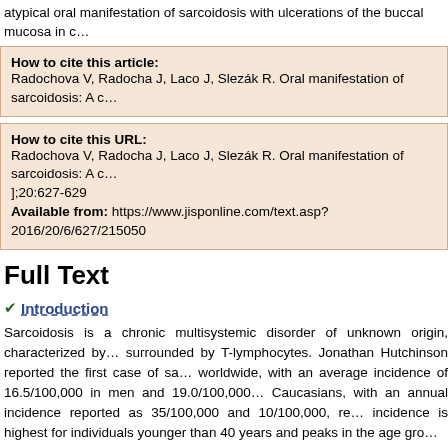atypical oral manifestation of sarcoidosis with ulcerations of the buccal mucosa in c…
How to cite this article:
Radochova V, Radocha J, Laco J, Slezák R. Oral manifestation of sarcoidosis: A c…
How to cite this URL:
Radochova V, Radocha J, Laco J, Slezák R. Oral manifestation of sarcoidosis: A c… ];20:627-629
Available from: https://www.jisponline.com/text.asp?2016/20/6/627/215050
Full Text
✔ Introduction
Sarcoidosis is a chronic multisystemic disorder of unknown origin, characterized by… surrounded by T-lymphocytes. Jonathan Hutchinson reported the first case of sa… worldwide, with an average incidence of 16.5/100,000 in men and 19.0/100,000… Caucasians, with an annual incidence reported as 35/100,000 and 10/100,000, re… incidence is highest for individuals younger than 40 years and peaks in the age gro…
All organ systems may be involved, but the most frequently affected organ is the l… frequently affected organs in the head-and-neck region are salivary glands, with th…